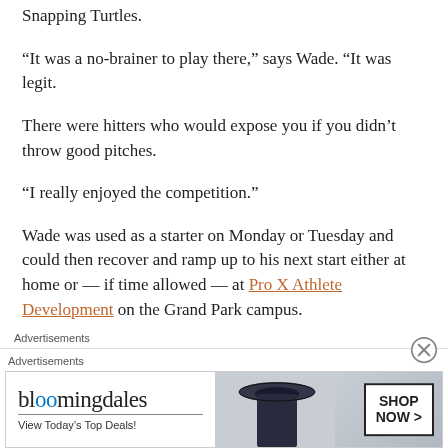Snapping Turtles.
“It was a no-brainer to play there,” says Wade. “It was legit.
There were hitters who would expose you if you didn’t throw good pitches.
“I really enjoyed the competition.”
Wade was used as a starter on Monday or Tuesday and could then recover and ramp up to his next start either at home or — if time allowed — at Pro X Athlete Development on the Grand Park campus.
Advertisements
Advertisements
[Figure (other): Bloomingdale's advertisement banner: logo, 'View Today’s Top Deals!', model photo, SHOP NOW button]